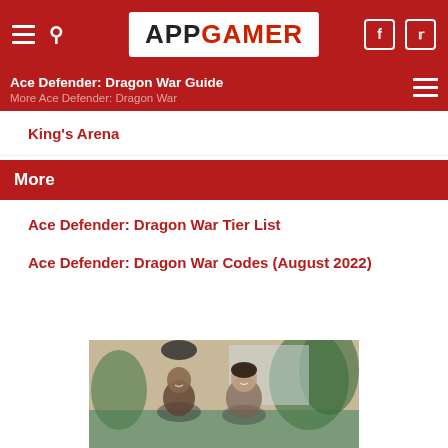APP GAMER
Ace Defender: Dragon War Guide
More Ace Defender: Dragon War
King's Arena
More
Ace Defender: Dragon War Tier List
Ace Defender: Dragon War Codes (August 2022)
[Figure (photo): Advertisement photo showing two people smiling indoors with plants in the background]